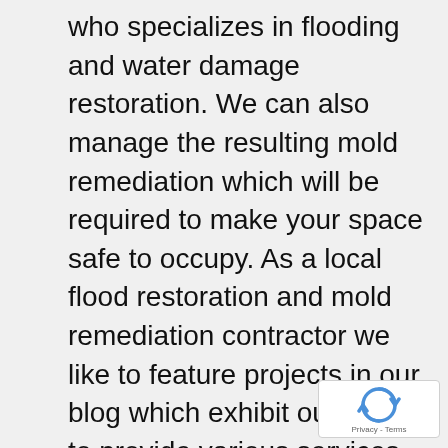who specializes in flooding and water damage restoration. We can also manage the resulting mold remediation which will be required to make your space safe to occupy. As a local flood restoration and mold remediation contractor we like to feature projects in our blog which exhibit our ability to provide various services. This project is a perfect example of how we served as a liaison to this customers insurance company and was able to achieve funding via a claim against our customers house insurance policy. In this case, the water damage and resulting mold was caused from sump pump failures and leaking windows and was covered by the clients policy.